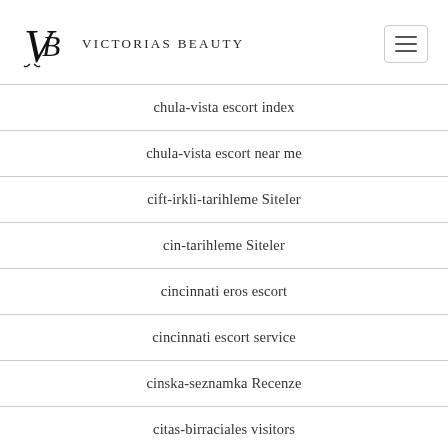Victorias Beauty
chula-vista escort index
chula-vista escort near me
cift-irkli-tarihleme Siteler
cin-tarihleme Siteler
cincinnati eros escort
cincinnati escort service
cinska-seznamka Recenze
citas-birraciales visitors
citas-bisexuales-es espa?a